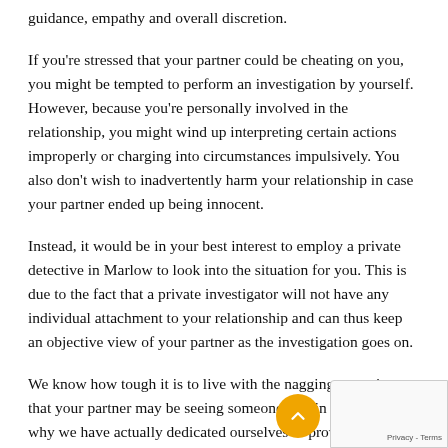guidance, empathy and overall discretion.
If you're stressed that your partner could be cheating on you, you might be tempted to perform an investigation by yourself. However, because you're personally involved in the relationship, you might wind up interpreting certain actions improperly or charging into circumstances impulsively. You also don't wish to inadvertently harm your relationship in case your partner ended up being innocent.
Instead, it would be in your best interest to employ a private detective in Marlow to look into the situation for you. This is due to the fact that a private investigator will not have any individual attachment to your relationship and can thus keep an objective view of your partner as the investigation goes on.
We know how tough it is to live with the nagging sensation that your partner may be seeing someone else in se… That's why we have actually dedicated ourselves to providing just the best private investigation services in